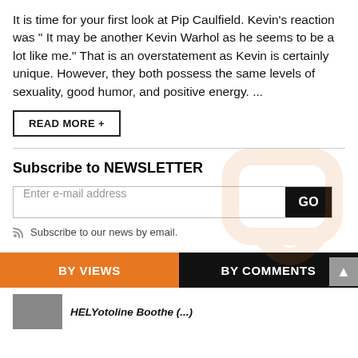It is time for your first look at Pip Caulfield. Kevin's reaction was " It may be another Kevin Warhol as he seems to be a lot like me." That is an overstatement as Kevin is certainly unique. However, they both possess the same levels of sexuality, good humor, and positive energy. ...
READ MORE +
Subscribe to NEWSLETTER
Enter e-mail address
Subscribe to our news by email.
BY VIEWS
BY COMMENTS
HELYotoline Boothe (...)